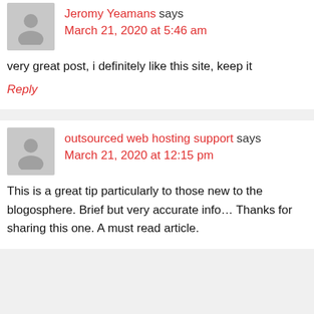Jeromy Yeamans says
March 21, 2020 at 5:46 am
very great post, i definitely like this site, keep it
Reply
outsourced web hosting support says
March 21, 2020 at 12:15 pm
This is a great tip particularly to those new to the blogosphere. Brief but very accurate info… Thanks for sharing this one. A must read article.